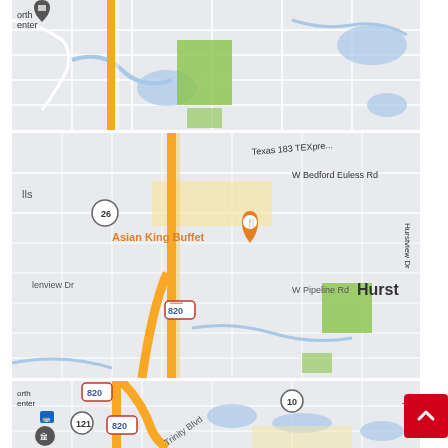[Figure (map): Google Maps screenshot showing the Fort Worth / Hurst area of Texas. Three map panels stacked vertically. Top panel shows highway interchange with yellow roads, green park areas, blue water bodies, and gray residential grid. Middle panel shows Texas 183 TEXpress, W Bedford Euless Rd, Asian King Buffet restaurant marker (orange), Interstate 820 shield, W Pipeline Rd, Hurst label, Hurstview Dr, Glen-view Dr labels. Bottom panel shows Interstate 820, Route 121, Route 10, Trinity Blvd, bus stop marker, Fort Worth Convention Center marker.]